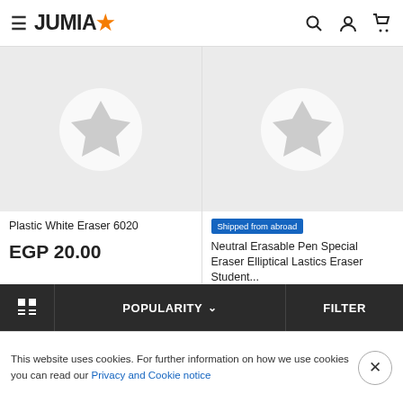JUMIA (logo with star)
[Figure (screenshot): Product card 1: gray background with white circle star placeholder image]
[Figure (screenshot): Product card 2: gray background with white circle star placeholder image]
Plastic White Eraser 6020
EGP 20.00
ADD TO CART
Shipped from abroad
Neutral Erasable Pen Special Eraser Elliptical Lastics Eraser Student...
EGP 23.00 EGP 46.00
ADD TO CART
POPULARITY
FILTER
This website uses cookies. For further information on how we use cookies you can read our Privacy and Cookie notice